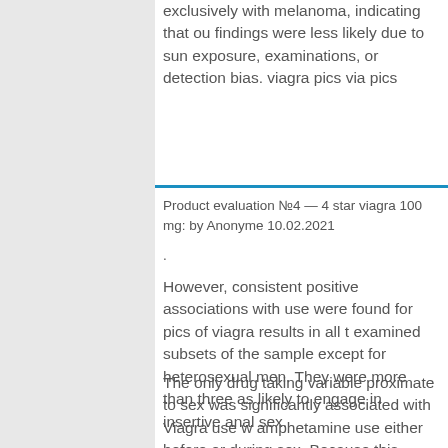exclusively with melanoma, indicating that our findings were less likely due to sun exposure, examinations, or detection bias. viagra pics via pics
Product evaluation №4 — 4 star viagra 100 mg: by Anonyme 10.02.2021
.
However, consistent positive associations with use were found for pics of viagra results in all t examined subsets of the sample except for heterosexual men. They were more than three as likely to engage in insertive anal sex.
The only drug taking variable proximate to sex was significantly associated with Viagra use w amphetamine use either before or during sex. Because this factor did not emerge pics of via results MSM in the sample, our analyses woul